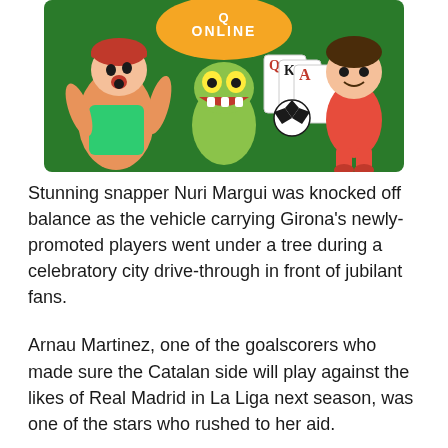[Figure (illustration): Colorful cartoon/anime-style illustration showing game characters: a male fighter character on the left, a green monster creature in the center, playing cards (Q, K, A) and a soccer ball in the middle, a chibi-style child character in red on the right, with an orange circular 'ONLINE' logo at the top center, all on a green background.]
Stunning snapper Nuri Margui was knocked off balance as the vehicle carrying Girona's newly-promoted players went under a tree during a celebratory city drive-through in front of jubilant fans.
Arnau Martinez, one of the goalscorers who made sure the Catalan side will play against the likes of Real Madrid in La Liga next season, was one of the stars who rushed to her aid.